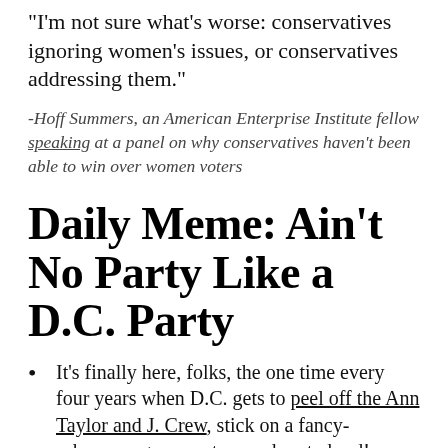"I'm not sure what's worse: conservatives ignoring women's issues, or conservatives addressing them."
-Hoff Summers, an American Enterprise Institute fellow speaking at a panel on why conservatives haven't been able to win over women voters
Daily Meme: Ain't No Party Like a D.C. Party
It's finally here, folks, the one time every four years when D.C. gets to peel off the Ann Taylor and J. Crew, stick on a fancy-schmancy gown or tux, and party hard!
Oh, and yeah, Obama's getting sworn in and stuff.
But as Michael Kazin says regarding